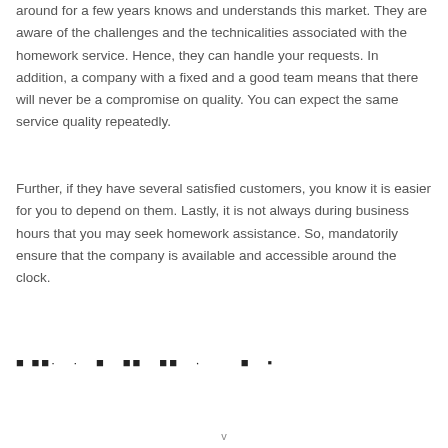around for a few years knows and understands this market. They are aware of the challenges and the technicalities associated with the homework service. Hence, they can handle your requests. In addition, a company with a fixed and a good team means that there will never be a compromise on quality. You can expect the same service quality repeatedly.
Further, if they have several satisfied customers, you know it is easier for you to depend on them. Lastly, it is not always during business hours that you may seek homework assistance. So, mandatorily ensure that the company is available and accessible around the clock.
■ ■■· · ■ ■■ ■■ · ■ ·
v